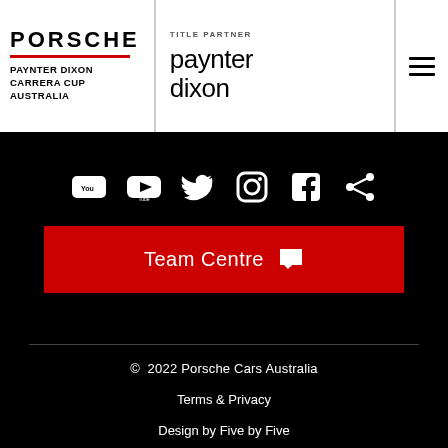PORSCHE | PAYNTER DIXON CARRERA CUP AUSTRALIA | TITLE PARTNER paynter dixon
[Figure (other): Social media icons row: YouTube, Twitter, Instagram, Facebook, Share]
Team Centre
© 2022 Porsche Cars Australia
Terms & Privacy
Design by Five by Five